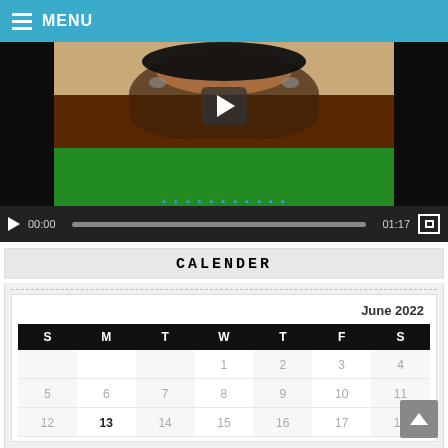MENU
[Figure (screenshot): Video player showing a woman in a green shirt sitting on a brown leather couch. The video is paused with a play button overlay. Controls show 00:00 current time and 01:17 duration.]
CALENDER
| S | M | T | W | T | F | S |
| --- | --- | --- | --- | --- | --- | --- |
|  |  |  | 1 | 2 | 3 | 4 |
| 5 | 6 | 7 | 8 | 9 | 10 | 11 |
| 12 | 13 | 14 | 15 | 16 | 17 | 18 |